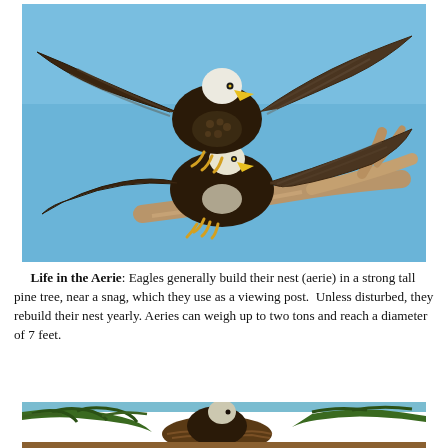[Figure (photo): Two bald eagles on a tree branch; one landing on top of the other with wings fully spread against a blue sky background. The eagles have white heads, yellow beaks, and dark brown feathers. They are perched on a bare dead branch (snag).]
Life in the Aerie: Eagles generally build their nest (aerie) in a strong tall pine tree, near a snag, which they use as a viewing post.  Unless disturbed, they rebuild their nest yearly. Aeries can weigh up to two tons and reach a diameter of 7 feet.
[Figure (photo): Partial view of a bird (eagle) in a nest among pine tree branches, cropped at the bottom of the page.]